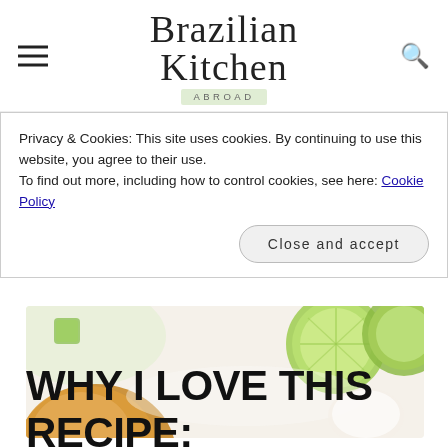Brazilian Kitchen Abroad
Privacy & Cookies: This site uses cookies. By continuing to use this website, you agree to their use.
To find out more, including how to control cookies, see here: Cookie Policy
Close and accept
[Figure (photo): Food photo showing lime slices and a copper bowl on a white background]
WHY I LOVE THIS RECIPE: